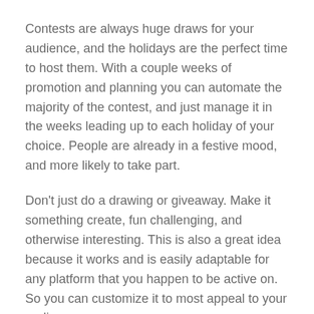Contests are always huge draws for your audience, and the holidays are the perfect time to host them. With a couple weeks of promotion and planning you can automate the majority of the contest, and just manage it in the weeks leading up to each holiday of your choice. People are already in a festive mood, and more likely to take part.
Don't just do a drawing or giveaway. Make it something create, fun challenging, and otherwise interesting. This is also a great idea because it works and is easily adaptable for any platform that you happen to be active on. So you can customize it to most appeal to your audience.
Proceed here for some useful resources: How to Host a Successful Social Media Contest: Your Ultimate List of Tools & Resources